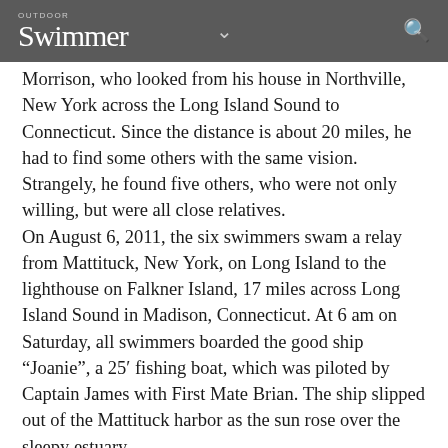Outdoor Swimmer
Morrison, who looked from his house in Northville, New York across the Long Island Sound to Connecticut. Since the distance is about 20 miles, he had to find some others with the same vision. Strangely, he found five others, who were not only willing, but were all close relatives. On August 6, 2011, the six swimmers swam a relay from Mattituck, New York, on Long Island to the lighthouse on Falkner Island, 17 miles across Long Island Sound in Madison, Connecticut. At 6 am on Saturday, all swimmers boarded the good ship “Joanie”, a 25’ fishing boat, which was piloted by Captain James with First Mate Brian. The ship slipped out of the Mattituck harbor as the sun rose over the sleepy estuary. Bill Morrison (45), the first swimmer, entered the water from Mattituck Beach and swam north for 30 minutes as the other swimmers cheered him on. The conditions were ideal, a slight overcast, deterring sunburn, a very pleasant